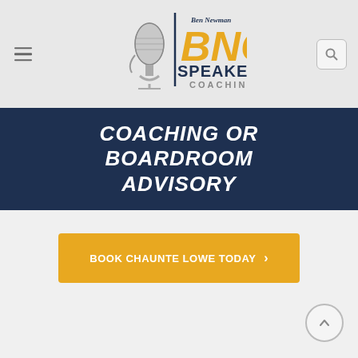[Figure (logo): BNC Speakers Coaching logo with microphone graphic and Ben Newman script text above BNC in gold, SPEAKERS in navy, COACHING below]
COACHING OR BOARDROOM ADVISORY
[Figure (other): Yellow/gold call-to-action button reading BOOK CHAUNTE LOWE TODAY with right arrow]
[Figure (other): Back to top circular button with upward chevron arrow]